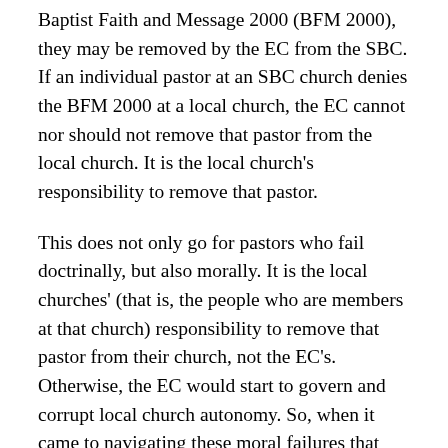Baptist Faith and Message 2000 (BFM 2000), they may be removed by the EC from the SBC. If an individual pastor at an SBC church denies the BFM 2000 at a local church, the EC cannot nor should not remove that pastor from the local church. It is the local church's responsibility to remove that pastor.
This does not only go for pastors who fail doctrinally, but also morally. It is the local churches' (that is, the people who are members at that church) responsibility to remove that pastor from their church, not the EC's. Otherwise, the EC would start to govern and corrupt local church autonomy. So, when it came to navigating these moral failures that were coming out, the EC had no right to usurp local church autonomy. The fact that